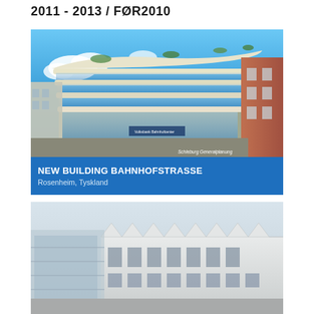2011 - 2013 / FØR2010
[Figure (photo): Architectural rendering of a modern curved glass building (New Building Bahnhofstrasse) in Rosenheim, Germany, with blue sky background. Watermark: Schleburg Generalplanung]
NEW BUILDING BAHNHOFSTRASSE
Rosenheim, Tyskland
[Figure (photo): Photograph of a modern industrial or commercial building complex with sawtooth roofline, white facade, and glass corridors, viewed from an aerial or elevated perspective.]